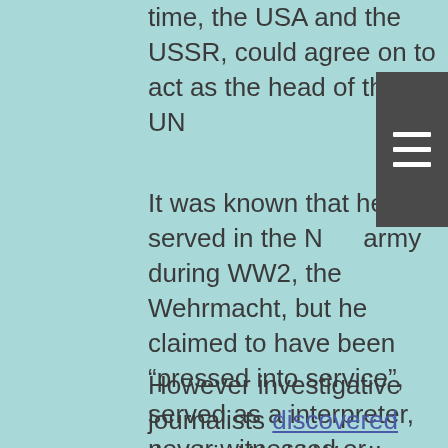time, the USA and the USSR, could agree on to act as the head of the UN
It was known that he served in the Nazi army during WW2, the Wehrmacht, but he claimed to have been “pressed into service”, served as a interpreter, never witnessed or participated in any atrocities, and that he was wounded and discharged after a short while.
However investigative journalists discovered that his World War II military record was a little bit fudged: He wasn’t, as he claimed, someone who was essentially pressed into service, quickly wounded and then spent the remainder of the war getting his jaw...